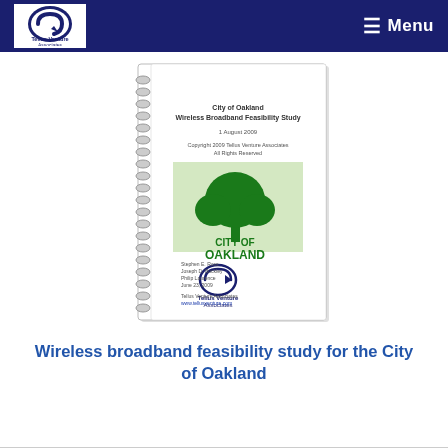Tellus Venture Associates — Menu navigation bar
[Figure (illustration): Spiral-bound report cover: 'City of Oakland Wireless Broadband Feasibility Study, 1 August 2009, Copyright 2009 Tellus Venture Associates All Rights Reserved' with City of Oakland green tree logo and Tellus Venture Associates logo, plus author names.]
Wireless broadband feasibility study for the City of Oakland